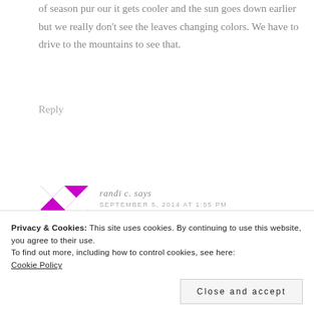of seasonpur our it gets cooler and the sun goes down earlier but we really don't see the leaves changing colors. We have to drive to the mountains to see that.
Reply
[Figure (illustration): Avatar image with magenta/purple diamond geometric pattern on white background]
randi c. says
SEPTEMBER 5, 2014 AT 1:55 PM
Privacy & Cookies: This site uses cookies. By continuing to use this website, you agree to their use.
To find out more, including how to control cookies, see here:
Cookie Policy
Close and accept